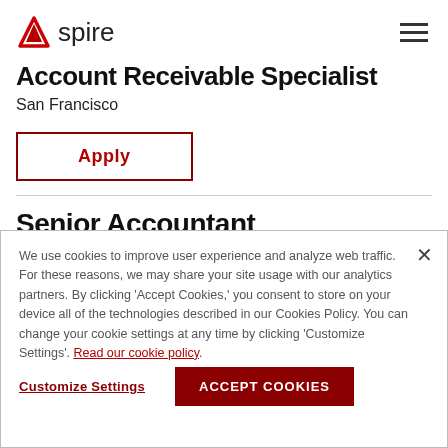Aspire
Account Receivable Specialist
San Francisco
Apply
Senior Accountant
We use cookies to improve user experience and analyze web traffic. For these reasons, we may share your site usage with our analytics partners. By clicking 'Accept Cookies,' you consent to store on your device all of the technologies described in our Cookies Policy. You can change your cookie settings at any time by clicking 'Customize Settings'. Read our cookie policy.
Customize Settings
ACCEPT COOKIES